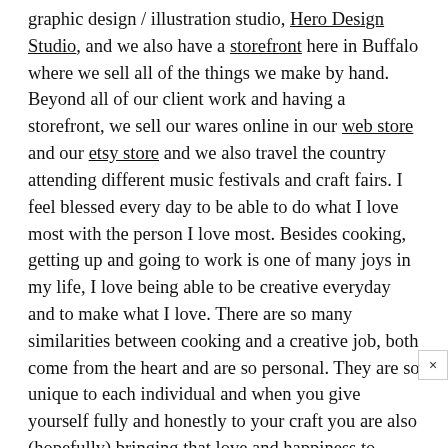graphic design / illustration studio, Hero Design Studio, and we also have a storefront here in Buffalo where we sell all of the things we make by hand. Beyond all of our client work and having a storefront, we sell our wares online in our web store and our etsy store and we also travel the country attending different music festivals and craft fairs. I feel blessed every day to be able to do what I love most with the person I love most. Besides cooking, getting up and going to work is one of many joys in my life, I love being able to be creative everyday and to make what I love. There are so many similarities between cooking and a creative job, both come from the heart and are so personal. They are so unique to each individual and when you give yourself fully and honestly to your craft you are also (hopefully) bringing that love and happiness to others, as well.

I recently combined my love of design and illustration with my love of cooking and designed a kitchen measurement conversion print and a flour sack tea towel. The print is 8" x 16"